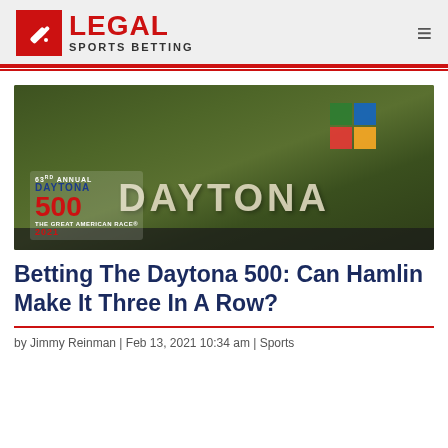LEGAL SPORTS BETTING
[Figure (photo): Aerial view of Daytona International Speedway infield with large DAYTONA lettering on grass, and Daytona 500 2021 logo overlay in bottom left. Colorful logo squares visible in upper right.]
Betting The Daytona 500: Can Hamlin Make It Three In A Row?
by Jimmy Reinman | Feb 13, 2021 10:34 am | Sports